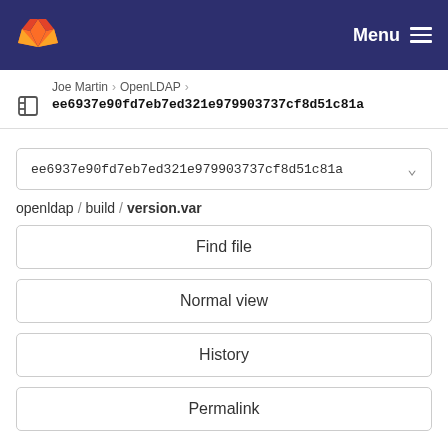GitLab — Menu
Joe Martin > OpenLDAP > ee6937e90fd7eb7ed321e979903737cf8d51c81a
ee6937e90fd7eb7ed321e979903737cf8d51c81a
openldap / build / version.var
Find file
Normal view
History
Permalink
version.var  651 Bytes
Newer  Older